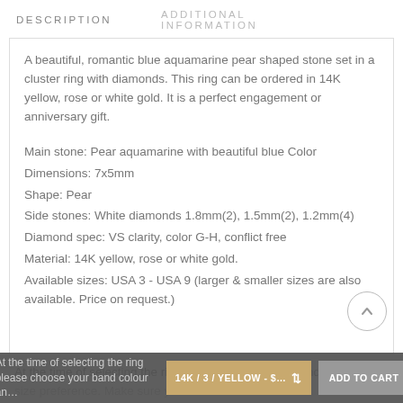DESCRIPTION   ADDITIONAL INFORMATION
A beautiful, romantic blue aquamarine pear shaped stone set in a cluster ring with diamonds. This ring can be ordered in 14K yellow, rose or white gold. It is a perfect engagement or anniversary gift.

Main stone: Pear aquamarine with beautiful blue Color
Dimensions: 7x5mm
Shape: Pear
Side stones: White diamonds 1.8mm(2), 1.5mm(2), 1.2mm(4)
Diamond spec: VS clarity, color G-H, conflict free
Material: 14K yellow, rose or white gold.
Available sizes: USA 3 - USA 9 (larger & smaller sizes are also available. Price on request.)
At the time of selecting the ring please choose your band colour and size preference. Make sure you select